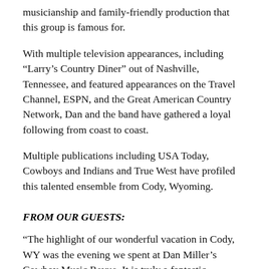musicianship and family-friendly production that this group is famous for.
With multiple television appearances, including “Larry’s Country Diner” out of Nashville, Tennessee, and featured appearances on the Travel Channel, ESPN, and the Great American Country Network, Dan and the band have gathered a loyal following from coast to coast.
Multiple publications including USA Today, Cowboys and Indians and True West have profiled this talented ensemble from Cody, Wyoming.
FROM OUR GUESTS:
“The highlight of our wonderful vacation in Cody, WY was the evening we spent at Dan Miller’s Cowboy Music Revue. It is truly a fantastic